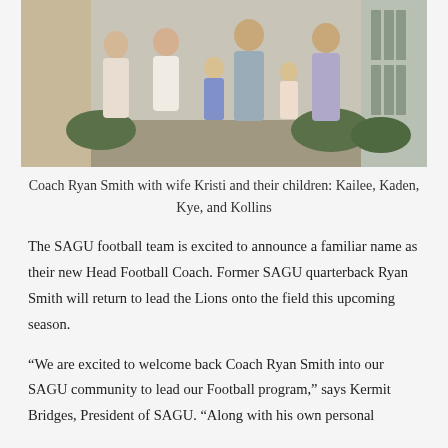[Figure (photo): Family photo of Coach Ryan Smith with wife Kristi and their children Kailee, Kaden, Kye, and Kollins, standing outdoors in front of a house.]
Coach Ryan Smith with wife Kristi and their children: Kailee, Kaden, Kye, and Kollins
The SAGU football team is excited to announce a familiar name as their new Head Football Coach. Former SAGU quarterback Ryan Smith will return to lead the Lions onto the field this upcoming season.
“We are excited to welcome back Coach Ryan Smith into our SAGU community to lead our Football program,” says Kermit Bridges, President of SAGU. “Along with his own personal